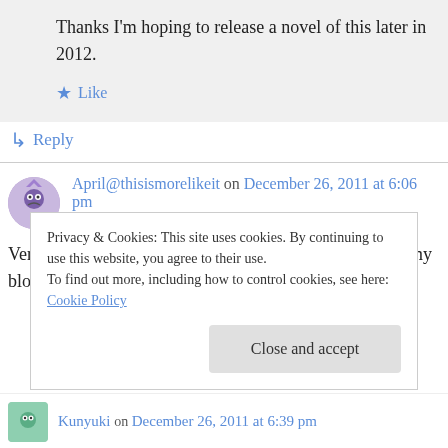Thanks I'm hoping to release a novel of this later in 2012.
★ Like
↳ Reply
April@thisismorelikeit on December 26, 2011 at 6:06 pm
Very creative and interesting writing. Thanks for liking my blog post. Merry Christmas!
Privacy & Cookies: This site uses cookies. By continuing to use this website, you agree to their use. To find out more, including how to control cookies, see here: Cookie Policy
Close and accept
Kunyuki on December 26, 2011 at 6:39 pm